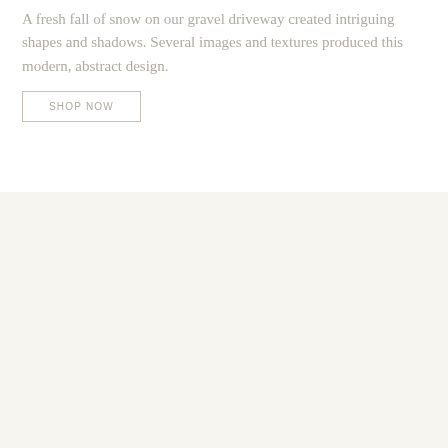A fresh fall of snow on our gravel driveway created intriguing shapes and shadows. Several images and textures produced this modern, abstract design.
SHOP NOW
[Figure (other): Large off-white / warm beige background panel filling the lower half of the page, appearing to be a plain background area or product display zone.]